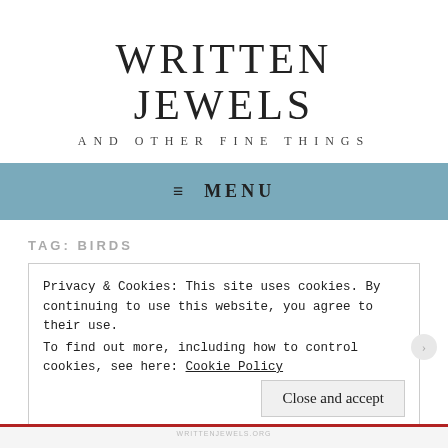WRITTEN JEWELS
AND OTHER FINE THINGS
≡  MENU
TAG: BIRDS
Privacy & Cookies: This site uses cookies. By continuing to use this website, you agree to their use.
To find out more, including how to control cookies, see here: Cookie Policy
Close and accept